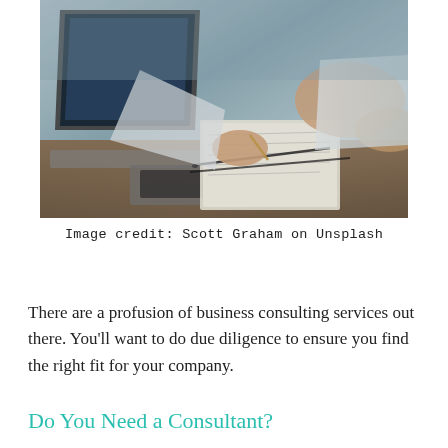[Figure (photo): Business meeting photo: two people at a desk with laptops open, one person writing in a notebook with a pen, papers and pens on the desk, close-up of hands]
Image credit: Scott Graham on Unsplash
There are a profusion of business consulting services out there. You'll want to do due diligence to ensure you find the right fit for your company.
Do You Need a Consultant?